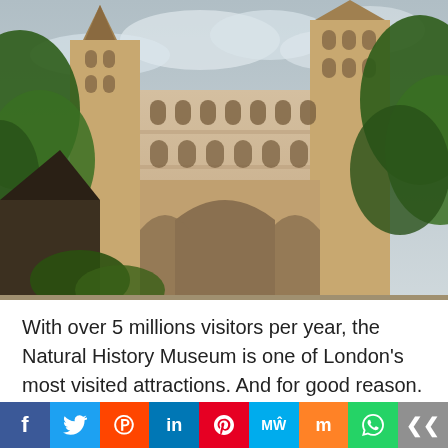[Figure (photo): Exterior photograph of the Natural History Museum in London, a grand Victorian Gothic building with ornate facade, towers, and arched windows, surrounded by green trees under a cloudy sky.]
With over 5 millions visitors per year, the Natural History Museum is one of London's most visited attractions. And for good reason. The museum has both scientific and historic significance. The former from the 80 million specimens stored by the museum. The latter due to the famous names of scientists who worked on these